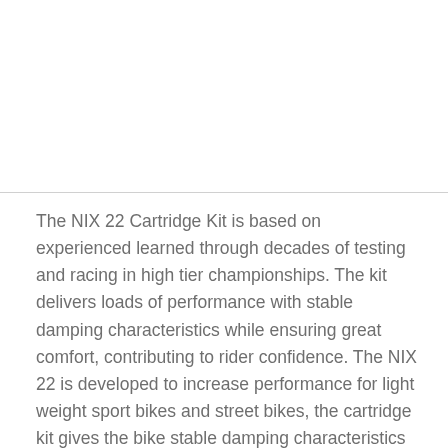The NIX 22 Cartridge Kit is based on experienced learned through decades of testing and racing in high tier championships. The kit delivers loads of performance with stable damping characteristics while ensuring great comfort, contributing to rider confidence. The NIX 22 is developed to increase performance for light weight sport bikes and street bikes, the cartridge kit gives the bike stable damping characteristics while ensuring great comfort which contributes to rider confidence. The Kit has the Öhlins proven “NIX” design which features compression damping in the left leg and rebound damping in the right leg. This allows for a more precise function and